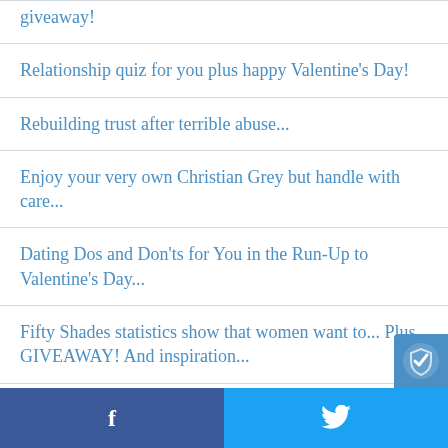giveaway!
Relationship quiz for you plus happy Valentine's Day!
Rebuilding trust after terrible abuse...
Enjoy your very own Christian Grey but handle with care...
Dating Dos and Don'ts for You in the Run-Up to Valentine's Day...
Fifty Shades statistics show that women want to... Plus GIVEAWAY! And inspiration...
It's dilemma day – answers to your sex, love
f  🐦